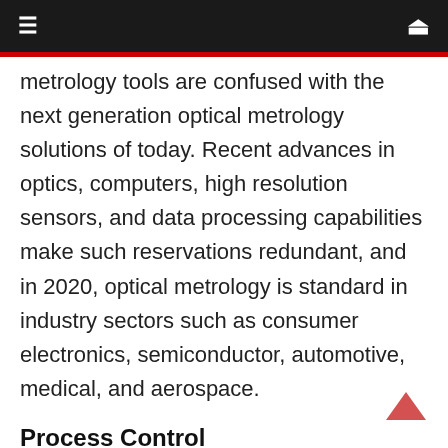≡  🔍
metrology tools are confused with the next generation optical metrology solutions of today. Recent advances in optics, computers, high resolution sensors, and data processing capabilities make such reservations redundant, and in 2020, optical metrology is standard in industry sectors such as consumer electronics, semiconductor, automotive, medical, and aerospace.
Process Control
For many manufacturers, quality control is key to cost-effective and efficient